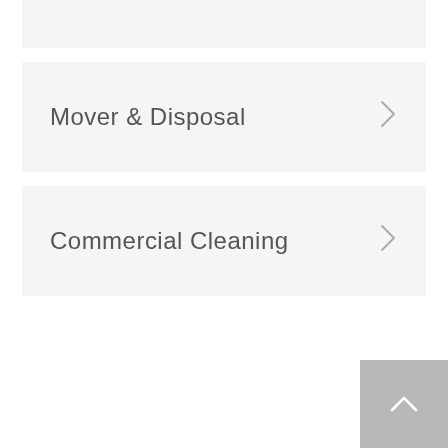Mover & Disposal
Commercial Cleaning